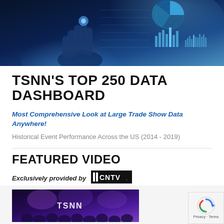[Figure (photo): Dark blue tech/data visualization background image showing a hand pointing upward with holographic charts, a pie chart, and bar graphs displayed in glowing blue tones]
TSNN'S TOP 250 DATA DASHBOARD
Most Comprehensive Look at Large Trade Show Data Anywhere!
Historical Event Performance Across the US (2014 - 2019)
FEATURED VIDEO
Exclusively provided by CNTV
[Figure (photo): Video thumbnail showing a dark purple stage with people and TSNN text visible]